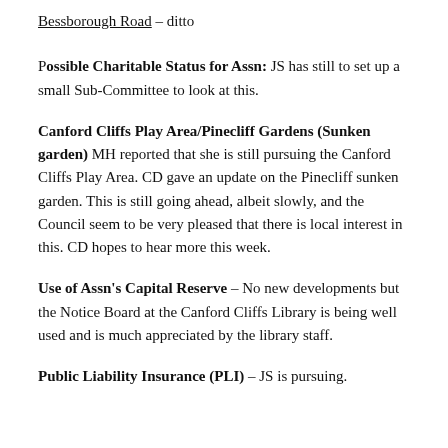Bessborough Road – ditto
Possible Charitable Status for Assn: JS has still to set up a small Sub-Committee to look at this.
Canford Cliffs Play Area/Pinecliff Gardens (Sunken garden) MH reported that she is still pursuing the Canford Cliffs Play Area. CD gave an update on the Pinecliff sunken garden. This is still going ahead, albeit slowly, and the Council seem to be very pleased that there is local interest in this. CD hopes to hear more this week.
Use of Assn's Capital Reserve – No new developments but the Notice Board at the Canford Cliffs Library is being well used and is much appreciated by the library staff.
Public Liability Insurance (PLI) – JS is pursuing.